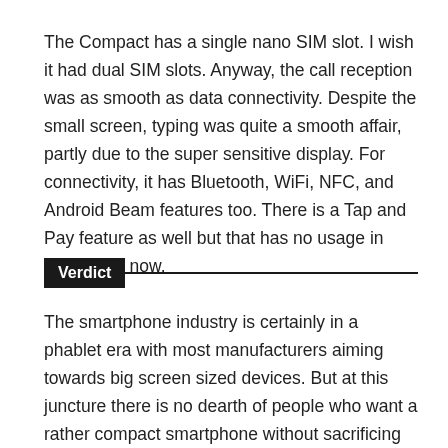The Compact has a single nano SIM slot. I wish it had dual SIM slots. Anyway, the call reception was as smooth as data connectivity. Despite the small screen, typing was quite a smooth affair, partly due to the super sensitive display. For connectivity, it has Bluetooth, WiFi, NFC, and Android Beam features too. There is a Tap and Pay feature as well but that has no usage in India as of now.
Verdict
The smartphone industry is certainly in a phablet era with most manufacturers aiming towards big screen sized devices. But at this juncture there is no dearth of people who want a rather compact smartphone without sacrificing the fun part. The Sony Xperia Z3 Compact would definitely